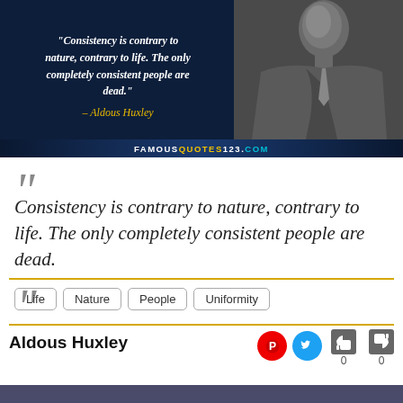[Figure (illustration): Quote image with dark blue background on left showing italic bold white text of the Aldous Huxley quote, yellow author name, and black-and-white photo of Aldous Huxley on right. Bottom bar shows FAMOUSQUOTES123.COM]
“Consistency is contrary to nature, contrary to life. The only completely consistent people are dead.”
Life  Nature  People  Uniformity
Aldous Huxley
0  0